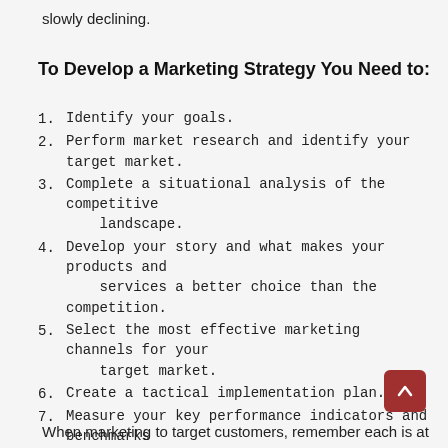slowly declining.
To Develop a Marketing Strategy You Need to:
1. Identify your goals.
2. Perform market research and identify your target market.
3. Complete a situational analysis of the competitive landscape.
4. Develop your story and what makes your products and services a better choice than the competition.
5. Select the most effective marketing channels for your target market.
6. Create a tactical implementation plan.
7. Measure your key performance indicators and benchmarks to monitor strategy performance.
When marketing to target customers, remember each is at